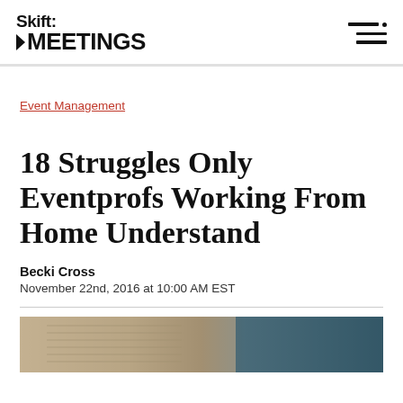Skift MEETINGS
Event Management
18 Struggles Only Eventprofs Working From Home Understand
Becki Cross
November 22nd, 2016 at 10:00 AM EST
[Figure (photo): Partial photo of a desk with notebook and phone/tablet, teal background on right side]